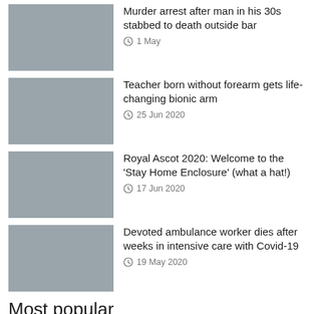[Figure (photo): Thumbnail image placeholder (grey)]
Murder arrest after man in his 30s stabbed to death outside bar
1 May
[Figure (photo): Thumbnail image placeholder (grey)]
Teacher born without forearm gets life-changing bionic arm
25 Jun 2020
[Figure (photo): Thumbnail image placeholder (grey)]
Royal Ascot 2020: Welcome to the 'Stay Home Enclosure' (what a hat!)
17 Jun 2020
[Figure (photo): Thumbnail image placeholder (grey)]
Devoted ambulance worker dies after weeks in intensive care with Covid-19
19 May 2020
Most popular
Energy price cap could pass £6,000 for first time in